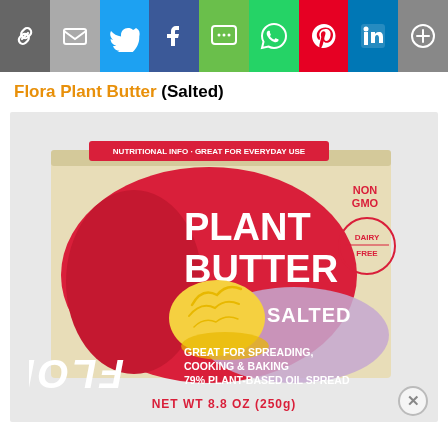[Figure (other): Social media share bar with icons: link, email, Twitter, Facebook, SMS, WhatsApp, Pinterest, LinkedIn, More]
Flora Plant Butter (Salted)
[Figure (photo): Flora Plant Butter (Salted) product box. Cream/tan cardboard box with red blob label showing FLORA in vertical italic letters, PLANT BUTTER in large white text, SALTED badge, dairy curl illustration, NON GMO label top right, DAIRY FREE circle badge, text: GREAT FOR SPREADING, COOKING & BAKING, 79% PLANT-BASED OIL SPREAD, NET WT 8.8 OZ (250g)]